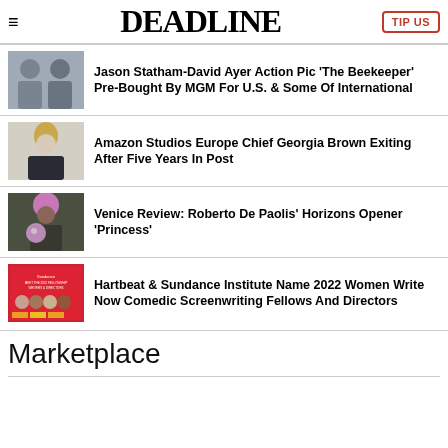DEADLINE | TIP US
Jason Statham-David Ayer Action Pic 'The Beekeeper' Pre-Bought By MGM For U.S. & Some Of International
Amazon Studios Europe Chief Georgia Brown Exiting After Five Years In Post
Venice Review: Roberto De Paolis' Horizons Opener 'Princess'
Hartbeat & Sundance Institute Name 2022 Women Write Now Comedic Screenwriting Fellows And Directors
Marketplace